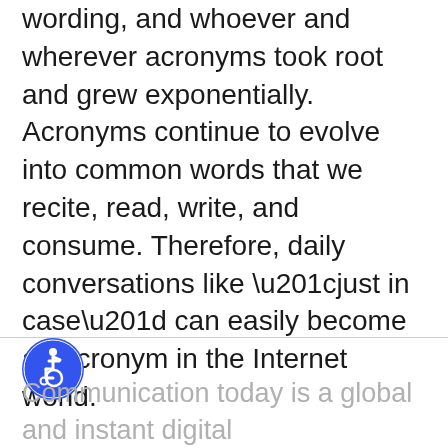wording, and whoever and wherever acronyms took root and grew exponentially. Acronyms continue to evolve into common words that we recite, read, write, and consume. Therefore, daily conversations like “just in case” can easily become an acronym in the Internet world.
[Figure (logo): Accessibility icon: blue circle with white wheelchair user symbol]
Communication today is a global and instant digital